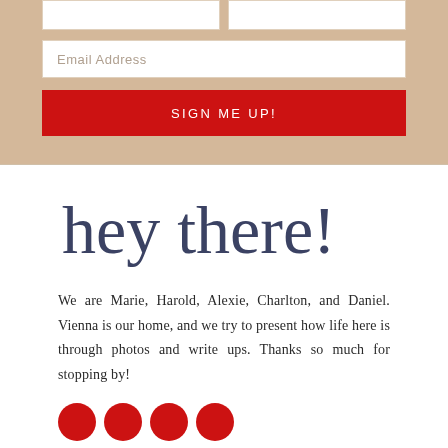[Figure (screenshot): Email input form fields (two side-by-side input boxes and an email address field) on a tan/beige background]
[Figure (other): Red 'SIGN ME UP!' button on beige background]
[Figure (illustration): Handwritten cursive script text reading 'hey there!' in dark navy/slate color]
We are Marie, Harold, Alexie, Charlton, and Daniel. Vienna is our home, and we try to present how life here is through photos and write ups. Thanks so much for stopping by!
[Figure (other): Four red circular social media icon buttons partially visible at bottom]